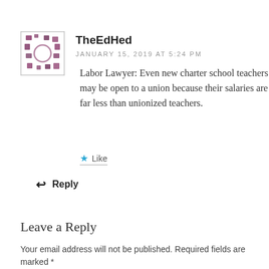[Figure (illustration): Avatar image of TheEdHed user — abstract purple and white pattern in a square border]
TheEdHed
JANUARY 15, 2019 AT 5:24 PM
Labor Lawyer: Even new charter school teachers may be open to a union because their salaries are far less than unionized teachers.
★ Like
↩ Reply
Leave a Reply
Your email address will not be published. Required fields are marked *
Comment *